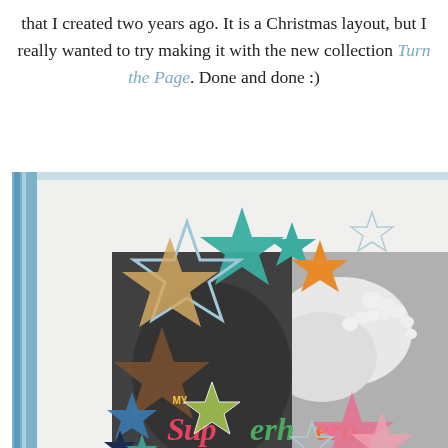that I created two years ago. It is a Christmas layout, but I really wanted to try making it with the new collection Turn the Page. Done and done :)
[Figure (photo): A scrapbook layout page titled 'My Superhero' featuring a black and white photo of a baby's feet being held up, decorated with colorful star cutouts in teal, orange, pink, brown, and patterned paper stars arranged around the photo on a white background with a blue patterned border.]